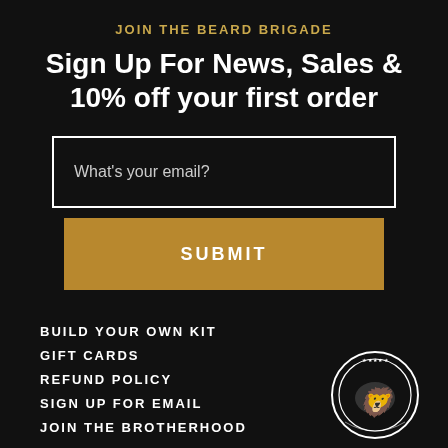JOIN THE BEARD BRIGADE
Sign Up For News, Sales & 10% off your first order
What's your email?
SUBMIT
BUILD YOUR OWN KIT
GIFT CARDS
REFUND POLICY
SIGN UP FOR EMAIL
JOIN THE BROTHERHOOD
[Figure (logo): Circular badge logo with a lion illustration and stars around the border, white on dark background]